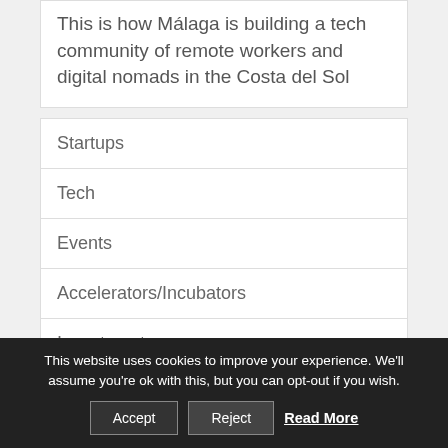This is how Málaga is building a tech community of remote workers and digital nomads in the Costa del Sol
Startups
Tech
Events
Accelerators/Incubators
Investments
Advertise
This website uses cookies to improve your experience. We'll assume you're ok with this, but you can opt-out if you wish. Accept Reject Read More